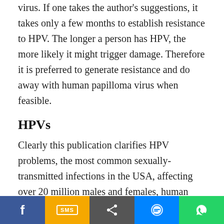virus. If one takes the author's suggestions, it takes only a few months to establish resistance to HPV. The longer a person has HPV, the more likely it might trigger damage. Therefore it is preferred to generate resistance and do away with human papilloma virus when feasible.
HPVs
Clearly this publication clarifies HPV problems, the most common sexually-transmitted infections in the USA, affecting over 20 million males and females, human